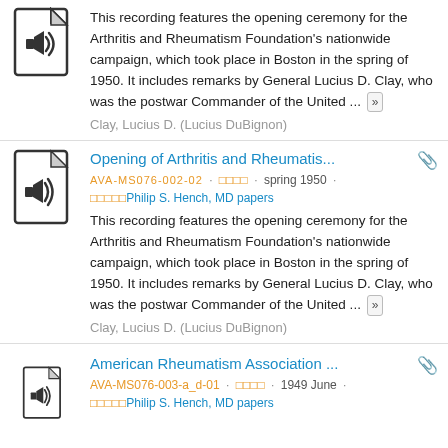[Figure (illustration): Audio file icon (document with speaker symbol)]
This recording features the opening ceremony for the Arthritis and Rheumatism Foundation's nationwide campaign, which took place in Boston in the spring of 1950. It includes remarks by General Lucius D. Clay, who was the postwar Commander of the United ... »
Clay, Lucius D. (Lucius DuBignon)
[Figure (illustration): Audio file icon (document with speaker symbol)]
Opening of Arthritis and Rheumatis...
AVA-MS076-002-02 · □□□□ · spring 1950 · □□□□□Philip S. Hench, MD papers
This recording features the opening ceremony for the Arthritis and Rheumatism Foundation's nationwide campaign, which took place in Boston in the spring of 1950. It includes remarks by General Lucius D. Clay, who was the postwar Commander of the United ... »
Clay, Lucius D. (Lucius DuBignon)
[Figure (illustration): Audio file icon (document with speaker symbol)]
American Rheumatism Association ...
AVA-MS076-003-a_d-01 · □□□□ · 1949 June · □□□□□Philip S. Hench, MD papers